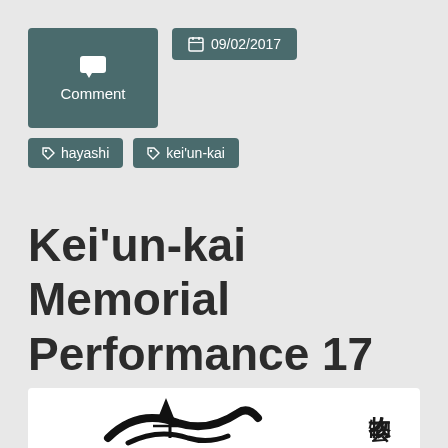[Figure (other): Comment button box with speech bubble icon, teal/dark green background]
📅 09/02/2017
hayashi
kei'un-kai
Kei'un-kai Memorial Performance 17 August 2014
[Figure (photo): Japanese calligraphy/program image with kanji characters including 物故会 on the right side and brush artwork on the left]